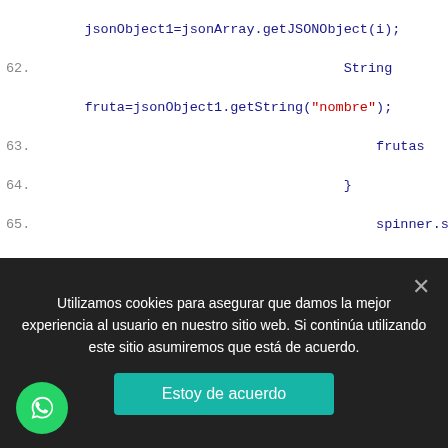[Figure (screenshot): Code editor screenshot showing Java/Android code lines 62-75 with syntax highlighting. Blue keywords, red string literals, teal numbers.]
Utilizamos cookies para asegurar que damos la mejor experiencia al usuario en nuestro sitio web. Si continúa utilizando este sitio asumiremos que está de acuerdo.
Estoy de acuerdo